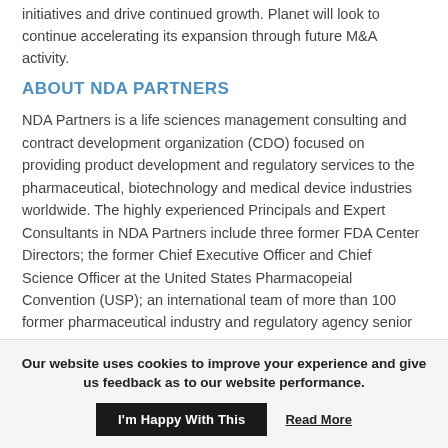initiatives and drive continued growth. Planet will look to continue accelerating its expansion through future M&A activity.
ABOUT NDA PARTNERS
NDA Partners is a life sciences management consulting and contract development organization (CDO) focused on providing product development and regulatory services to the pharmaceutical, biotechnology and medical device industries worldwide. The highly experienced Principals and Expert Consultants in NDA Partners include three former FDA Center Directors; the former Chief Executive Officer and Chief Science Officer at the United States Pharmacopeial Convention (USP); an international team of more than 100 former pharmaceutical industry and regulatory agency senior
Our website uses cookies to improve your experience and give us feedback as to our website performance.
I'm Happy With This
Read More